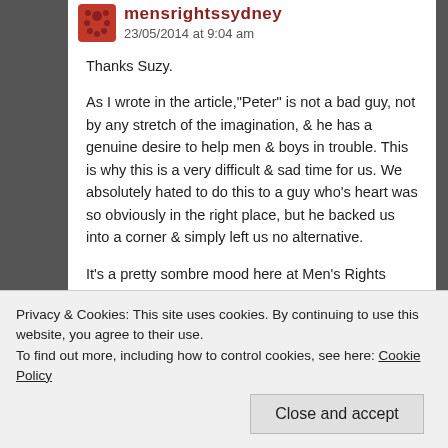mensrightssydney — 23/05/2014 at 9:04 am
Thanks Suzy.
As I wrote in the article,"Peter" is not a bad guy, not by any stretch of the imagination, & he has a genuine desire to help men & boys in trouble. This is why this is a very difficult & sad time for us. We absolutely hated to do this to a guy who's heart was so obviously in the right place, but he backed us into a corner & simply left us no alternative.
It's a pretty sombre mood here at Men's Rights Sydney at the moment so we really appreciate your support.
Privacy & Cookies: This site uses cookies. By continuing to use this website, you agree to their use.
To find out more, including how to control cookies, see here: Cookie Policy
Close and accept